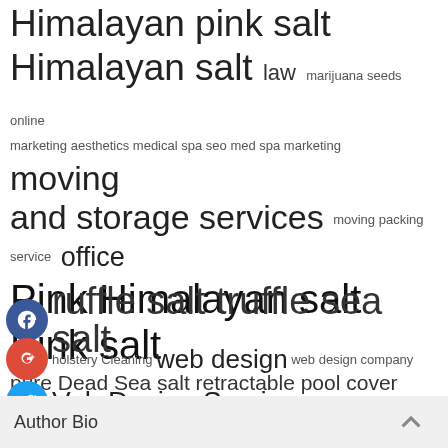Himalayan pink salt
Himalayan salt law marijuana seeds online
marketing aesthetics medical spa seo med spa marketing moving and storage services moving packing service office
Pink Himalayan salt Pink salt
pure Dead Sea salt retractable pool cover search engine optimization seo agency seo book treadmill treadmills
truffle salt truffle sea salt
Upholstery Cleaning web design web design company
Web Design Services
+
Author Bio